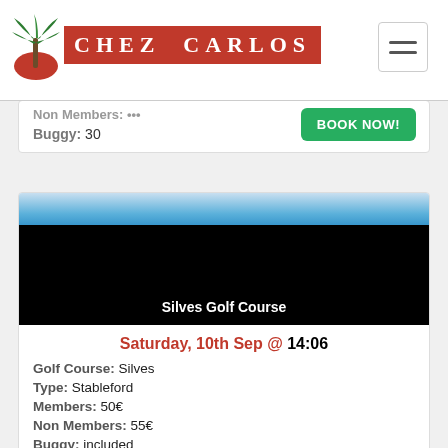Chez Carlos
Non Members: ••• | Buggy: 30
[Figure (photo): Silves Golf Course header image with sky and black background, text overlay: Silves Golf Course]
Saturday, 10th Sep @ 14:06
Golf Course: Silves
Type: Stableford
Members: 50€
Non Members: 55€
Buggy: included